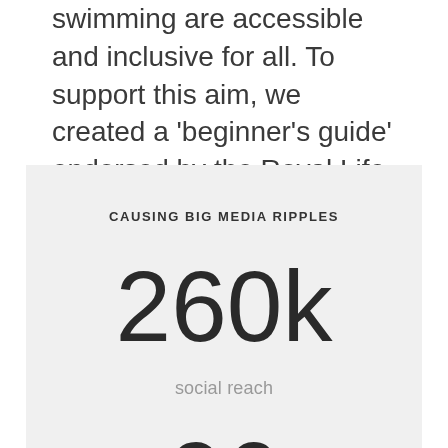swimming are accessible and inclusive for all. To support this aim, we created a 'beginner's guide' endorsed by the Royal Life Saving Society. Zone3 could also share the guide across channels and pitch to the wider media.
CAUSING BIG MEDIA RIPPLES
260k
social reach